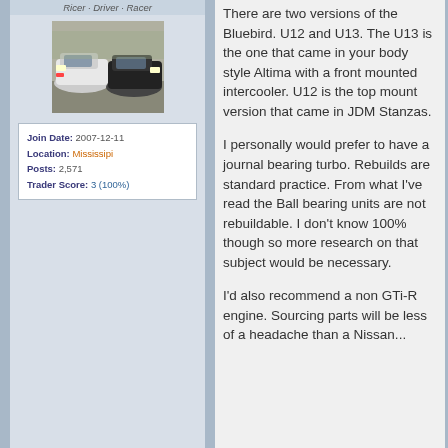Ricer · Driver · Racer
[Figure (photo): Avatar image showing two cars parked, front view]
Join Date: 2007-12-11
Location: Mississipi
Posts: 2,571
Trader Score: 3 (100%)
There are two versions of the Bluebird. U12 and U13. The U13 is the one that came in your body style Altima with a front mounted intercooler. U12 is the top mount version that came in JDM Stanzas.
I personally would prefer to have a journal bearing turbo. Rebuilds are standard practice. From what I've read the Ball bearing units are not rebuildable. I don't know 100% though so more research on that subject would be necessary.
I'd also recommend a non GTi-R engine. Sourcing parts will be less of a headache than a Nissan...